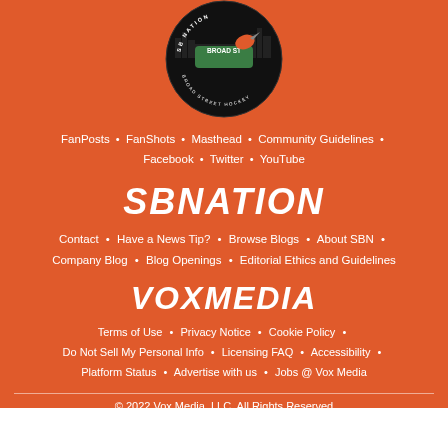[Figure (logo): SBNation / Broad Street Hockey circular logo on orange background]
FanPosts • FanShots • Masthead • Community Guidelines • Facebook • Twitter • YouTube
SBNATION
Contact • Have a News Tip? • Browse Blogs • About SBN • Company Blog • Blog Openings • Editorial Ethics and Guidelines
VOXMEDIA
Terms of Use • Privacy Notice • Cookie Policy • Do Not Sell My Personal Info • Licensing FAQ • Accessibility • Platform Status • Advertise with us • Jobs @ Vox Media
© 2022 Vox Media, LLC. All Rights Reserved